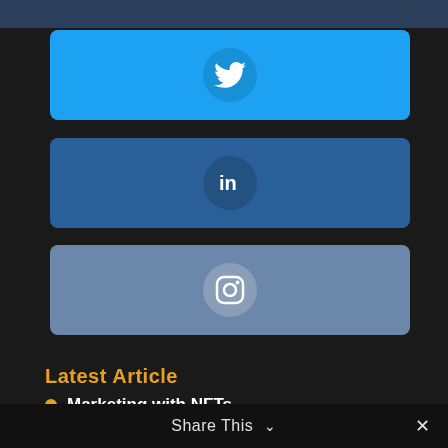[Figure (other): Twitter social share button bar with Twitter bird icon in circle]
[Figure (other): LinkedIn social share button bar with 'in' icon in circle]
[Figure (other): Instagram social share button bar with Instagram camera icon in circle]
Latest Article
Marketing with NFTs
Share This ∨  ✕